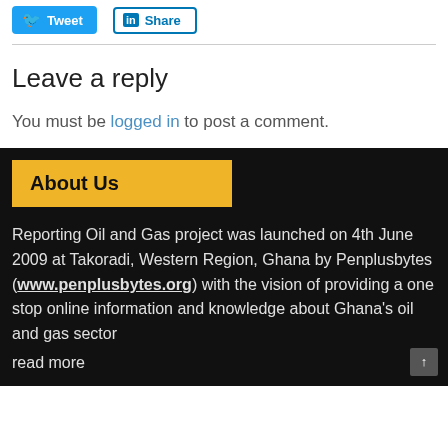[Figure (other): Social sharing buttons: Twitter Tweet button and LinkedIn Share button]
Leave a reply
You must be logged in to post a comment.
About Us
Reporting Oil and Gas project was launched on 4th June 2009 at Takoradi, Western Region, Ghana by Penplusbytes (www.penplusbytes.org) with the vision of providing a one stop online information and knowledge about Ghana's oil and gas sector read more